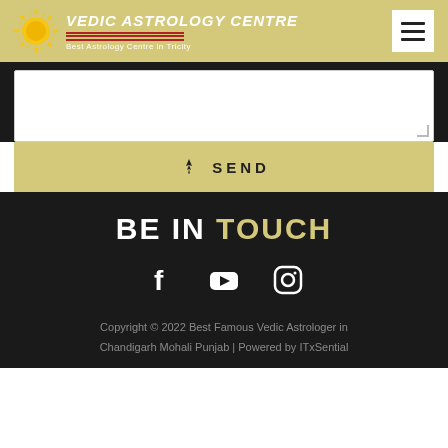[Figure (logo): Vedic Astrology Centre logo with sun icon, white title text, and subtitle 'Best Astrology Centre in Tricity' on golden/khaki background header with hamburger menu button]
[Figure (screenshot): Form textarea input field with white background and grey border on dark background]
✦ SEND
BE IN TOUCH
[Figure (infographic): Social media icons: Facebook, YouTube, Instagram in white on dark background]
Copyright © 2022 Best Famous Vedic Astrologer in Chandigarh Mohali Punjab | Powered by ITxSential